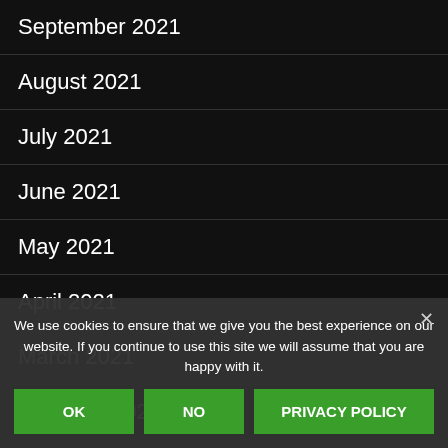September 2021
August 2021
July 2021
June 2021
May 2021
April 2021
March 2021
February 2021
January 2021
December 2020
November 2020
October 2020
We use cookies to ensure that we give you the best experience on our website. If you continue to use this site we will assume that you are happy with it.